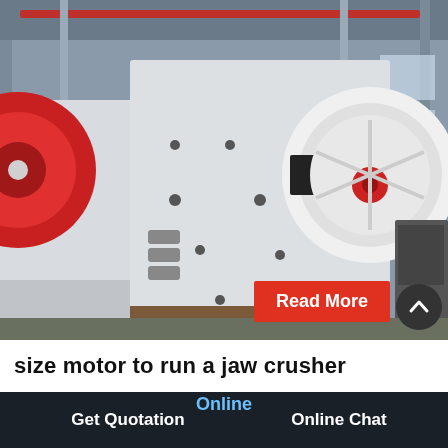[Figure (photo): Industrial jaw crusher machine photographed inside a factory/warehouse. Large white metal frame with red flywheels visible on the left, a large white and black pulley/flywheel on the right side, multiple bolt holes on the body, mounted on wooden pallets. Factory ceiling with red crane beam visible in background.]
Read More
size motor to run a jaw crusher
Online
Get Quotation
Online Chat